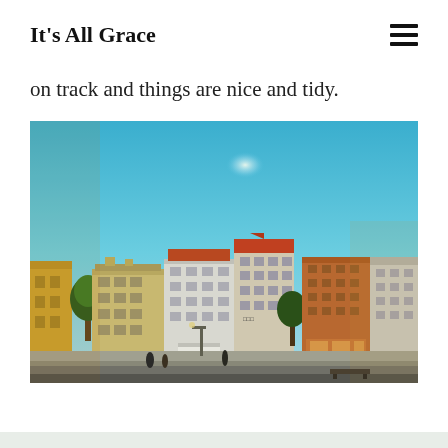It's All Grace
on track and things are nice and tidy.
[Figure (photo): A row of European-style multi-storey buildings with orange-red and white facades under a bright clear blue sky, with trees and street-level shops visible.]